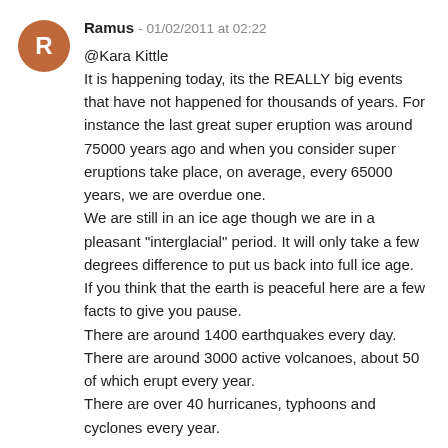Ramus - 01/02/2011 at 02:22
@Kara Kittle
It is happening today, its the REALLY big events that have not happened for thousands of years. For instance the last great super eruption was around 75000 years ago and when you consider super eruptions take place, on average, every 65000 years, we are overdue one.
We are still in an ice age though we are in a pleasant "interglacial" period. It will only take a few degrees difference to put us back into full ice age.
If you think that the earth is peaceful here are a few facts to give you pause.
There are around 1400 earthquakes every day.
There are around 3000 active volcanoes, about 50 of which erupt every year.
There are over 40 hurricanes, typhoons and cyclones every year.